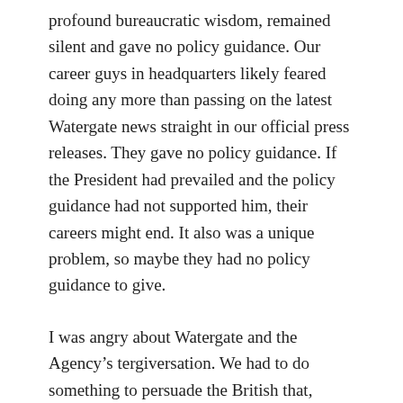profound bureaucratic wisdom, remained silent and gave no policy guidance. Our career guys in headquarters likely feared doing any more than passing on the latest Watergate news straight in our official press releases. They gave no policy guidance. If the President had prevailed and the policy guidance had not supported him, their careers might end. It also was a unique problem, so maybe they had no policy guidance to give.
I was angry about Watergate and the Agency’s tergiversation. We had to do something to persuade the British that, despite the President’s disgraceful behavior, the American system of government would in the end prove stable. We needed to show that America would remain a reliable NATO ally